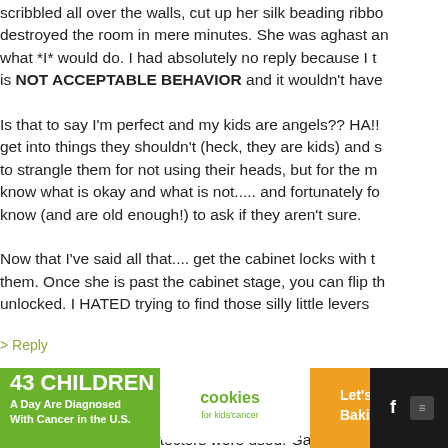scribbled all over the walls, cut up her silk beading ribbo... destroyed the room in mere minutes. She was aghast an... what *I* would do. I had absolutely no reply because I t... is NOT ACCEPTABLE BEHAVIOR and it wouldn't have...
Is that to say I'm perfect and my kids are angels?? HA!! ... get into things they shouldn't (heck, they are kids) and s... to strangle them for not using their heads, but for the m... know what is okay and what is not..... and fortunately fo... know (and are old enough!) to ask if they aren't sure.
Now that I've said all that.... get the cabinet locks with t... them. Once she is past the cabinet stage, you can flip th... unlocked. I HATED trying to find those silly little levers...
> Reply
36. Karly says:
AUGUST 11TH, 2011 AT 6:26 AM

Electric outlet protectors were used. Gates for stairs –...